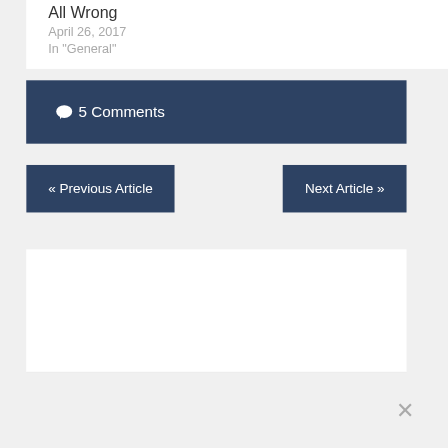All Wrong
April 26, 2017
In "General"
💬 5 Comments
« Previous Article
Next Article »